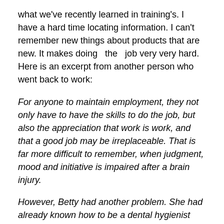what we've recently learned in training's. I have a hard time locating information. I can't remember new things about products that are new. It makes doing  the  job very very hard. Here is an excerpt from another person who went back to work:
For anyone to maintain employment, they not only have to have the skills to do the job, but also the appreciation that work is work, and that a good job may be irreplaceable. That is far more difficult to remember, when judgment, mood and initiative is impaired after a brain injury.
However, Betty had another problem. She had already known how to be a dental hygienist before her accident and after rehab, was able to do much of what was required of her because it required her to use skills she had learned before her accident.  But the field of dentistry,